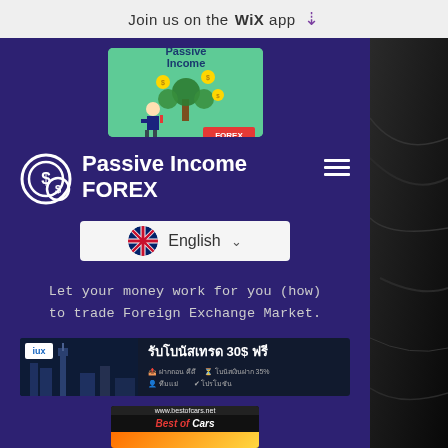Join us on the WiX app ⬇
[Figure (illustration): Passive Income FOREX logo: cartoon businessman with money tree on green background with FOREX TRADING label]
Passive Income FOREX
[Figure (other): Language selector showing English with UK flag and dropdown chevron]
Let your money work for you (how) to trade Foreign Exchange Market.
[Figure (infographic): IUX Markets banner advertisement: รับโบนัสเทรด 30$ ฟรี with London Big Ben background]
[Figure (other): Best of Cars advertisement: www.bestofcars.net with orange car image]